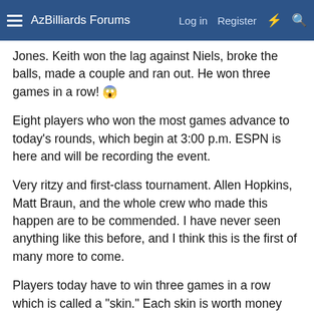AzBilliards Forums  Log in  Register
Jones. Keith won the lag against Niels, broke the balls, made a couple and ran out. He won three games in a row! 😱
Eight players who won the most games advance to today's rounds, which begin at 3:00 p.m. ESPN is here and will be recording the event.
Very ritzy and first-class tournament. Allen Hopkins, Matt Braun, and the whole crew who made this happen are to be commended. I have never seen anything like this before, and I think this is the first of many more to come.
Players today have to win three games in a row which is called a "skin." Each skin is worth money and will elevate in value as the tournament continues. Very exciting here in Atlantic City and just wanted to post a brief update on AzBilliards Discussion Forum! We are having a blast!
JAM [posting under KM's account: cookie laptop problems]